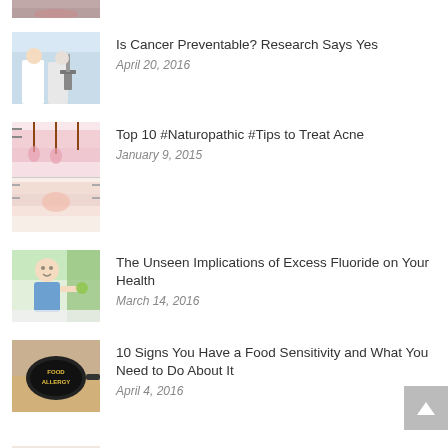[Figure (photo): Partial top image - appears to be a person's lips/face, cropped]
Is Cancer Preventable? Research Says Yes
April 20, 2016
[Figure (photo): Scientists in lab coats looking through microscope]
Top 10 #Naturopathic #Tips to Treat Acne
January 9, 2015
[Figure (illustration): Medical illustration of skin cross-section showing acne]
The Unseen Implications of Excess Fluoride on Your Health
March 14, 2016
[Figure (photo): Young child with food on face holding something green]
10 Signs You Have a Food Sensitivity and What You Need to Do About It
April 4, 2016
[Figure (photo): Black frying pan with 'FOOD ALLERGY' text in yellow letters]
Thinking About Measles?
February 13, 2015
[Figure (photo): Child in red shirt looking worried or sick]